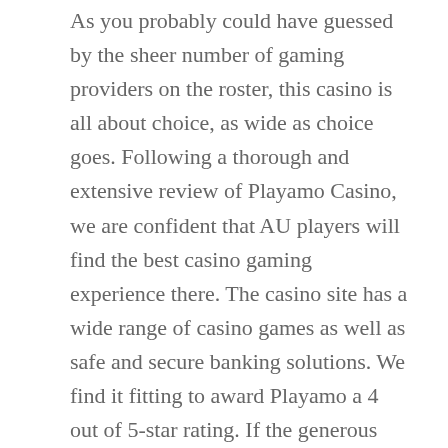As you probably could have guessed by the sheer number of gaming providers on the roster, this casino is all about choice, as wide as choice goes. Following a thorough and extensive review of Playamo Casino, we are confident that AU players will find the best casino gaming experience there. The casino site has a wide range of casino games as well as safe and secure banking solutions. We find it fitting to award Playamo a 4 out of 5-star rating. If the generous bonus isn't convincing enough, try any of their 1000 casino games to see for yourself.
All bonuses come with their PlayAmo bonus code, and you can enter them in their respective fields after your deposit. Finally, high rollers or veteran players who prefer high stakes also have their bonus with the High Roller Bonus. Your first $1,500 deposits come with a 50% match bonus for up to $3,000. In fact, Playamo Casino is